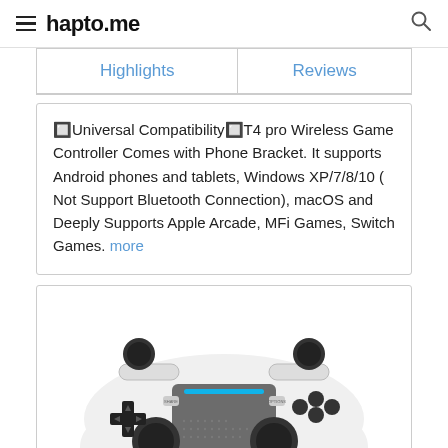hapto.me
| Highlights | Reviews |
| --- | --- |
🔲Universal Compatibility🔲T4 pro Wireless Game Controller Comes with Phone Bracket. It supports Android phones and tablets, Windows XP/7/8/10 ( Not Support Bluetooth Connection), macOS and Deeply Supports Apple Arcade, MFi Games, Switch Games. more
[Figure (photo): White PS4-style wireless game controller with black analog sticks, d-pad, face buttons, touchpad with blue LED strip, and speaker grille, photographed from above on white background.]